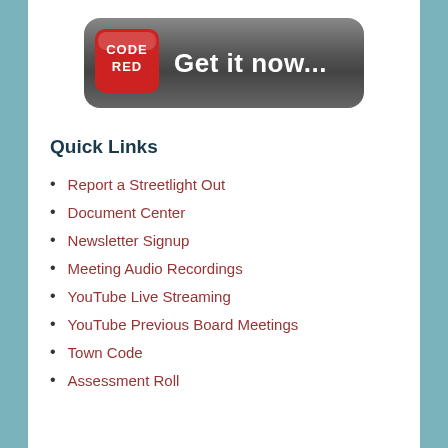[Figure (logo): Code Red app button with red icon and 'Get it now...' text on dark rounded rectangle background]
Quick Links
Report a Streetlight Out
Document Center
Newsletter Signup
Meeting Audio Recordings
YouTube Live Streaming
YouTube Previous Board Meetings
Town Code
Assessment Roll